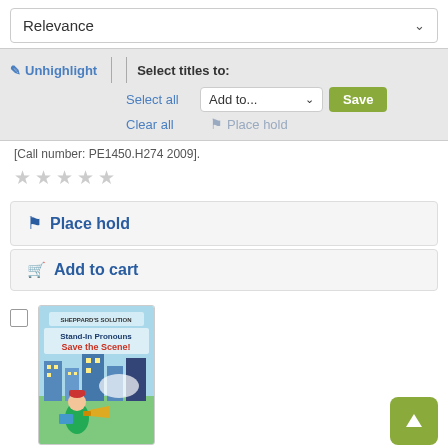Relevance
✏ Unhighlight | Select titles to:
Select all
Add to... Save
Clear all
🔖 Place hold
[Call number: PE1450.H274 2009].
★ ★ ★ ★ ★
🔖 Place hold
🛒 Add to cart
[Figure (illustration): Book cover for 'Stand-in Pronouns Save the Scene!' showing a cartoon boy with a megaphone and cityscape background]
Stand-in pronouns save the scene! / by